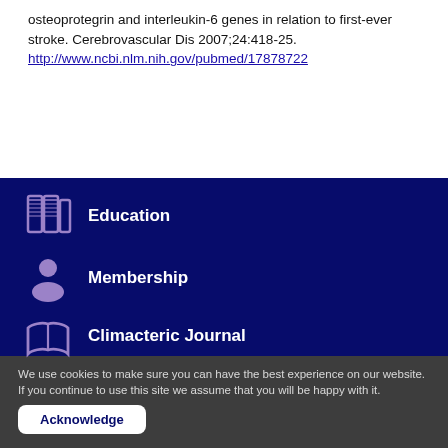osteoprotegrin and interleukin-6 genes in relation to first-ever stroke. Cerebrovascular Dis 2007;24:418-25. http://www.ncbi.nlm.nih.gov/pubmed/17878722
[Figure (illustration): Dark blue navigation sidebar with three menu items: Education (books icon), Membership (person/user icon), Climacteric Journal (open book icon)]
We use cookies to make sure you can have the best experience on our website. If you continue to use this site we assume that you will be happy with it.
Acknowledge